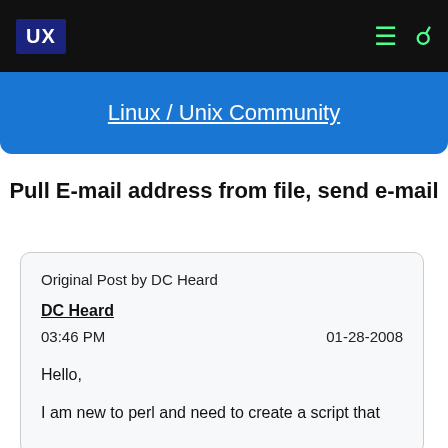UX
Linux / Unix Community
Pull E-mail address from file, send e-mail
Original Post by DC Heard
DC Heard
03:46 PM   01-28-2008
Hello,

I am new to perl and need to create a script that